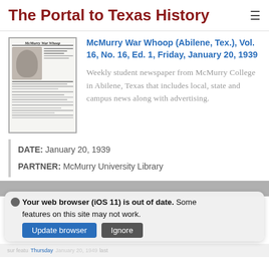The Portal to Texas History
McMurry War Whoop (Abilene, Tex.), Vol. 16, No. 16, Ed. 1, Friday, January 20, 1939
[Figure (photo): Thumbnail of McMurry War Whoop newspaper front page showing a portrait photo and text columns]
Weekly student newspaper from McMurry College in Abilene, Texas that includes local, state and campus news along with advertising.
DATE: January 20, 1939
PARTNER: McMurry University Library
Your web browser (iOS 11) is out of date. Some features on this site may not work.